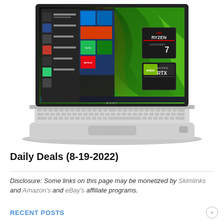[Figure (photo): Acer laptop open, showing Windows 10 start menu on screen, with AMD Ryzen 7 and NVIDIA GeForce RTX badges on the display. Silver chassis with keyboard visible.]
Daily Deals (8-19-2022)
Disclosure: Some links on this page may be monetized by Skimlinks and Amazon's and eBay's affiliate programs.
RECENT POSTS